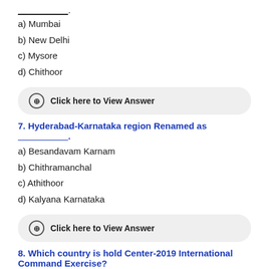___________.
a) Mumbai
b) New Delhi
c) Mysore
d) Chithoor
Click here to View Answer
7. Hyderabad-Karnataka region Renamed as ___________.
a) Besandavam Karnam
b) Chithramanchal
c) Athithoor
d) Kalyana Karnataka
Click here to View Answer
8. Which country is hold Center-2019 International Command Exercise?
a) Japan
b) India